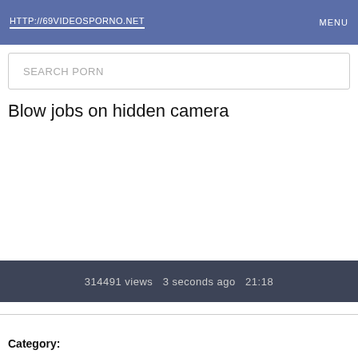HTTP://69VIDEOSPORNO.NET   MENU
SEARCH PORN
Blow jobs on hidden camera
314491 views   3 seconds ago   21:18
Category: